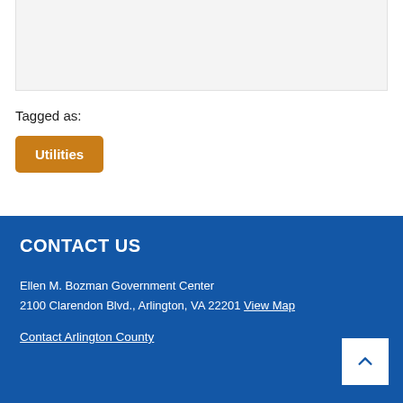[Figure (other): Gray content area placeholder at top of page]
Tagged as:
Utilities
CONTACT US
Ellen M. Bozman Government Center
2100 Clarendon Blvd., Arlington, VA 22201 View Map
Contact Arlington County